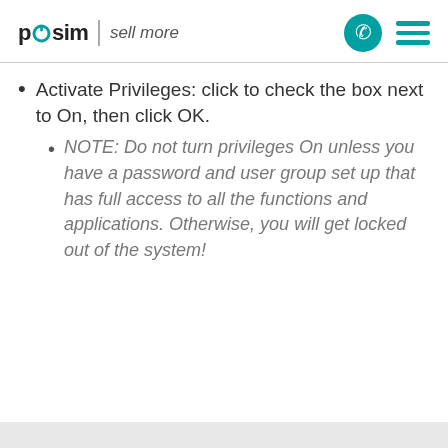posim | sell more
Activate Privileges: click to check the box next to On, then click OK.
NOTE: Do not turn privileges On unless you have a password and user group set up that has full access to all the functions and applications. Otherwise, you will get locked out of the system!